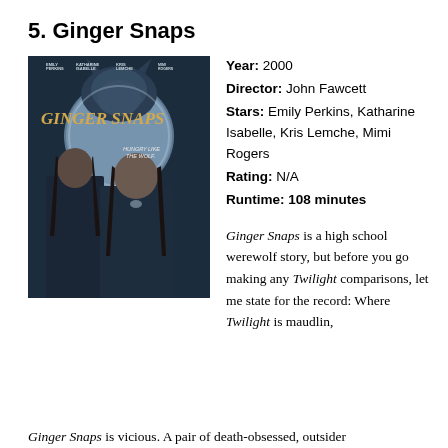5. Ginger Snaps
[Figure (photo): Movie poster for Ginger Snaps (2000) showing two young women in dark clothing with a large werewolf figure in the background and a full moon. Text reads: Emily Perkins, Katharine Isabelle, Kris Lemche, Mimi Rogers. GINGER SNAPS. HUNGRY LIKE THE WOLF.]
Year: 2000
Director: John Fawcett
Stars: Emily Perkins, Katharine Isabelle, Kris Lemche, Mimi Rogers
Rating: N/A
Runtime: 108 minutes

Ginger Snaps is a high school werewolf story, but before you go making any Twilight comparisons, let me state for the record: Where Twilight is maudlin,
Ginger Snaps is vicious. A pair of death-obsessed, outsider